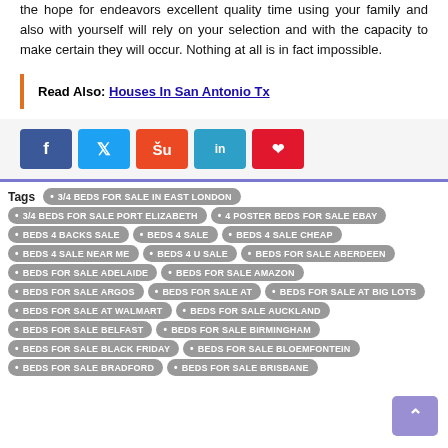the hope for endeavors excellent quality time using your family and also with yourself will rely on your selection and with the capacity to make certain they will occur. Nothing at all is in fact impossible.
Read Also: Houses In San Antonio Tx
[Figure (infographic): Social share buttons: Facebook, Twitter, StumbleUpon, LinkedIn, Pinterest]
3/4 BEDS FOR SALE IN EAST LONDON
3/4 BEDS FOR SALE PORT ELIZABETH
4 POSTER BEDS FOR SALE EBAY
BEDS 4 BACKS SALE
BEDS 4 SALE
BEDS 4 SALE CHEAP
BEDS 4 SALE NEAR ME
BEDS 4 U SALE
BEDS FOR SALE ABERDEEN
BEDS FOR SALE ADELAIDE
BEDS FOR SALE AMAZON
BEDS FOR SALE ARGOS
BEDS FOR SALE AT
BEDS FOR SALE AT BIG LOTS
BEDS FOR SALE AT WALMART
BEDS FOR SALE AUCKLAND
BEDS FOR SALE BELFAST
BEDS FOR SALE BIRMINGHAM
BEDS FOR SALE BLACK FRIDAY
BEDS FOR SALE BLOEMFONTEIN
BEDS FOR SALE BRADFORD
BEDS FOR SALE BRISBANE